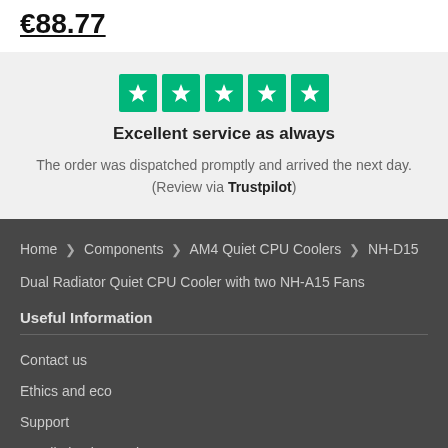€88.77
[Figure (infographic): Five green Trustpilot star rating boxes with white stars]
Excellent service as always
The order was dispatched promptly and arrived the next day. (Review via Trustpilot)
Home > Components > AM4 Quiet CPU Coolers > NH-D15 Dual Radiator Quiet CPU Cooler with two NH-A15 Fans
Useful Information
Contact us
Ethics and eco
Support
Installation instructions